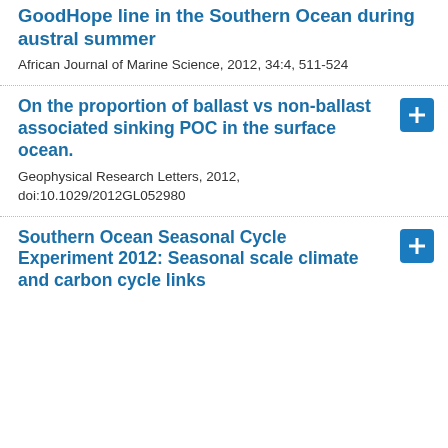GoodHope line in the Southern Ocean during austral summer
African Journal of Marine Science, 2012, 34:4, 511-524
On the proportion of ballast vs non-ballast associated sinking POC in the surface ocean.
Geophysical Research Letters, 2012, doi:10.1029/2012GL052980
Southern Ocean Seasonal Cycle Experiment 2012: Seasonal scale climate and carbon cycle links